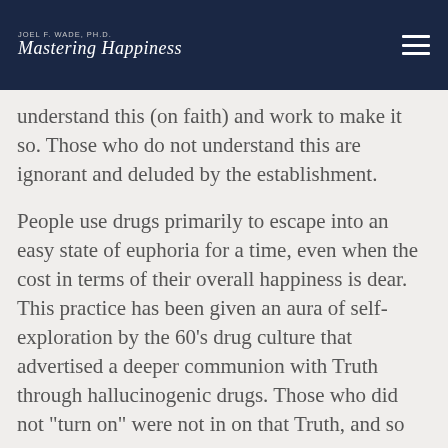JOEL F. WADE, PH.D. Mastering Happiness
understand this (on faith) and work to make it so. Those who do not understand this are ignorant and deluded by the establishment.
People use drugs primarily to escape into an easy state of euphoria for a time, even when the cost in terms of their overall happiness is dear. This practice has been given an aura of self-exploration by the 60’s drug culture that advertised a deeper communion with Truth through hallucinogenic drugs. Those who did not “turn on” were not in on that Truth, and so on...